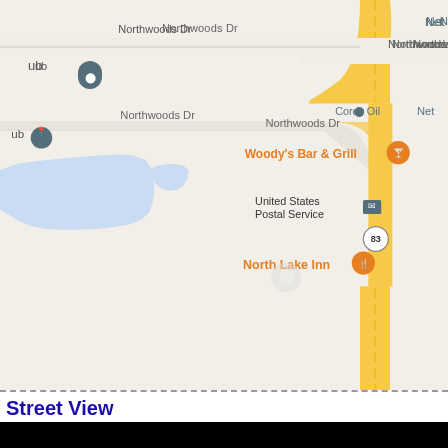[Figure (map): Google Maps view showing Northwoods Dr, Corey Oil, Woody's Bar & Grill, United States Postal Service, North Lake Inn, and route 83. A lake (blue filled area) is visible on the left. Roads shown include Northwoods Dr running horizontally and a major road running vertically on the right side colored in yellow/orange.]
Street View
[Figure (photo): Street View image (black/dark, content not visible)]